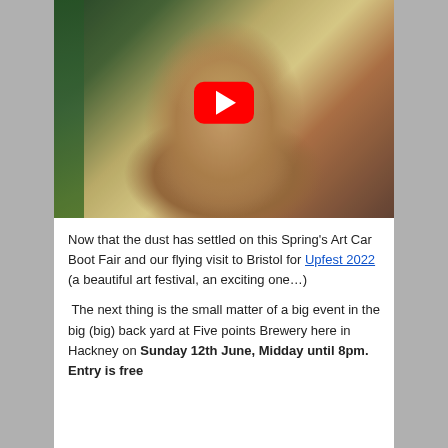[Figure (photo): A close-up video thumbnail of a person's face looking downward into the camera, with green tones on the left side and warm light on the face. A red YouTube play button overlay is centered on the image.]
Now that the dust has settled on this Spring's Art Car Boot Fair and our flying visit to Bristol for Upfest 2022 (a beautiful art festival, an exciting one…)
The next thing is the small matter of a big event in the big (big) back yard at Five points Brewery here in Hackney on Sunday 12th June, Midday until 8pm. Entry is free